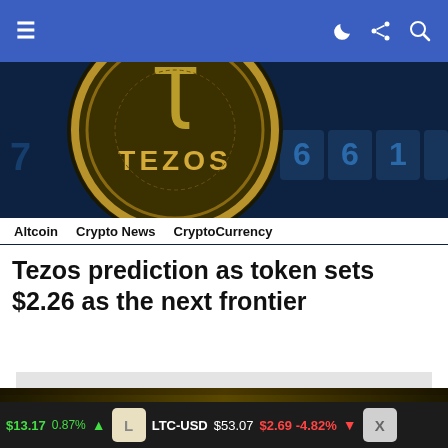Navigation bar with hamburger menu and icons
[Figure (photo): Tezos cryptocurrency coin with gold XTZ logo on dark blue numerical background]
Altcoin   Crypto News   CryptoCurrency
Tezos prediction as token sets $2.26 as the next frontier
[Figure (screenshot): Advertisement placeholder - light gray box with close button]
[Figure (photo): Join the fastest growing - Binance promotional banner with golden text on dark background]
$13.17 0.87% ▲  LTC-USD $53.07  $2.69 -4.82% ▼